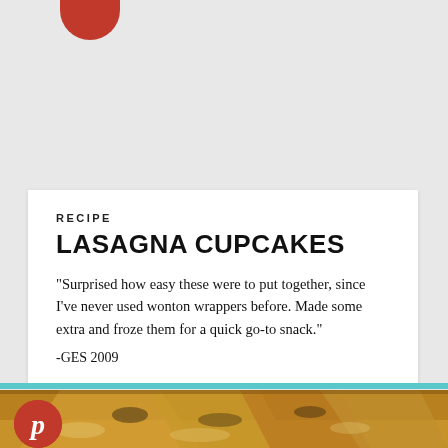[Figure (photo): Red circular logo partially visible at top]
RECIPE
LASAGNA CUPCAKES
"Surprised how easy these were to put together, since I've never used wonton wrappers before. Made some extra and froze them for a quick go-to snack."
-GES 2009
[Figure (photo): Food photo showing sliced quesadillas or flatbread with fillings, browned and cheesy]
[Figure (logo): Pinterest red circle logo with white P]